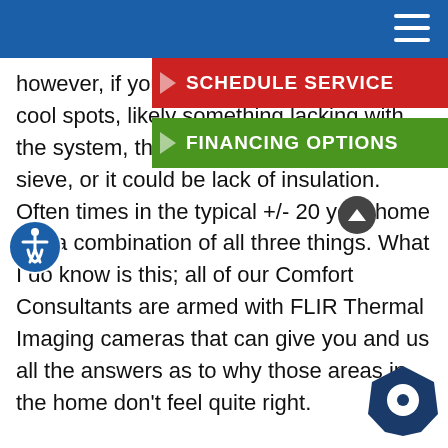Navigation header bar with hamburger menu
however, if you have unusually warm or cool spots, likely something lacking with the system, the ducts are leaking like a sieve, or it could be lack of insulation. Often times in the typical +/- 20 year home it is a combination of all three things. What I do know is this; all of our Comfort Consultants are armed with FLIR Thermal Imaging cameras that can give you and us all the answers as to why those areas in the home don't feel quite right.

Here it comes... I am an email away with any questions you may have at THW@artplumbingandac.com, we all
[Figure (screenshot): Red 'SCHEDULE SERVICE' button with right-pointing arrow, overlaying the text content]
[Figure (screenshot): Green 'FINANCING OPTIONS' button with right-pointing arrow, overlaying the text content]
[Figure (illustration): Accessibility wheelchair icon in blue circle, bottom-left area]
[Figure (illustration): Dark blue hexagon chat bubble icon, bottom-right area]